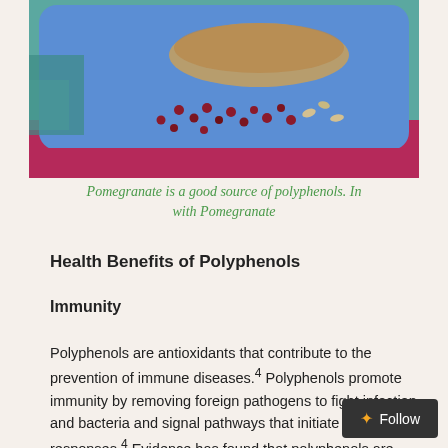[Figure (photo): A blue tray with food items including pomegranate seeds and other ingredients on a colorful pink/teal background.]
Pomegranate is a good source of polyphenols. In with Pomegranate
Health Benefits of Polyphenols
Immunity
Polyphenols are antioxidants that contribute to the prevention of immune diseases.4 Polyphenols promote immunity by removing foreign pathogens to fight infection and bacteria and signal pathways that initiate immune responses.4 Evidence has found that polyphenols are effectiv…